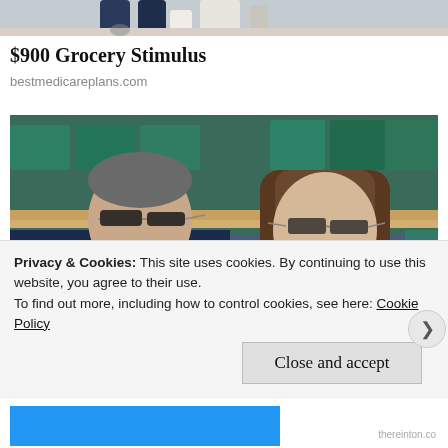[Figure (photo): Partial top photo showing feet/legs of people, cropped at top of page]
$900 Grocery Stimulus
bestmedicareplans.com
[Figure (photo): Two people sitting in stadium seating at what appears to be Wimbledon. Man on left wearing dark suit and sunglasses, woman on right with long brown hair, sunglasses, and pink flower accessory, wearing beige lace top.]
Privacy & Cookies: This site uses cookies. By continuing to use this website, you agree to their use.
To find out more, including how to control cookies, see here: Cookie Policy
Close and accept